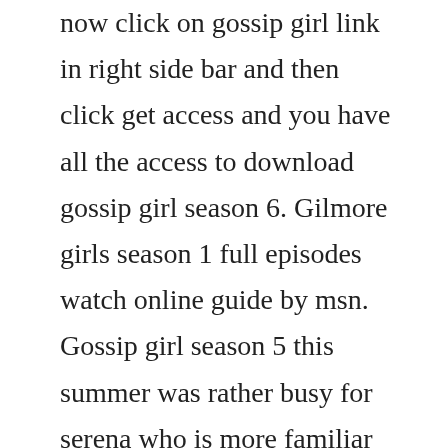now click on gossip girl link in right side bar and then click get access and you have all the access to download gossip girl season 6. Gilmore girls season 1 full episodes watch online guide by msn. Gossip girl season 5 this summer was rather busy for serena who is more familiar with doing nothing, entertaining and partying than with a real job. Ever night watch full episodes free mainland china tv. Affiliates with free and paid streaming include itunes, vudu, netflix. Watch full episodes of gossip girl and get the latest breaking news, exclusive videos and pictures, episode recaps